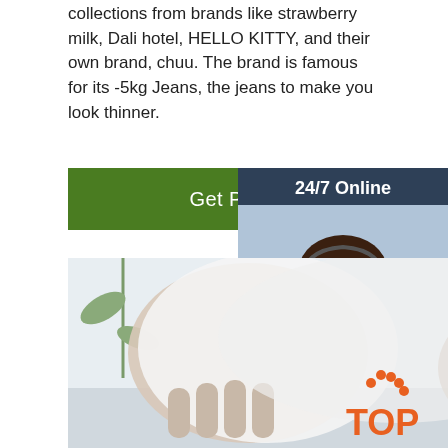collections from brands like strawberry milk, Dali hotel, HELLO KITTY, and their own brand, chuu. The brand is famous for its -5kg Jeans, the jeans to make you look thinner.
Get Price
24/7 Online
[Figure (photo): Woman with headset smiling, customer service representative]
Click here for free chat !
QUOTATION
[Figure (photo): Hands holding white face mask sheet against light background with plant]
[Figure (other): TOP badge with orange dots logo]